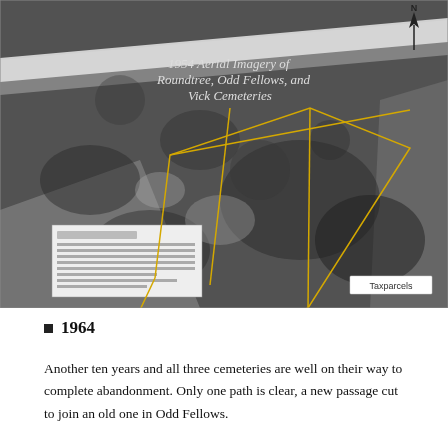[Figure (photo): 1954 aerial imagery black-and-white photograph showing Roundtree, Odd Fellows, and Vick Cemeteries. Yellow polygon outlines mark the tax parcels over the aerial view. A north arrow is visible in the upper right. A legend/description inset panel appears in the lower left, and a 'Taxparcels' label appears in the lower right.]
1964
Another ten years and all three cemeteries are well on their way to complete abandonment. Only one path is clear, a new passage cut to join an old one in Odd Fellows.